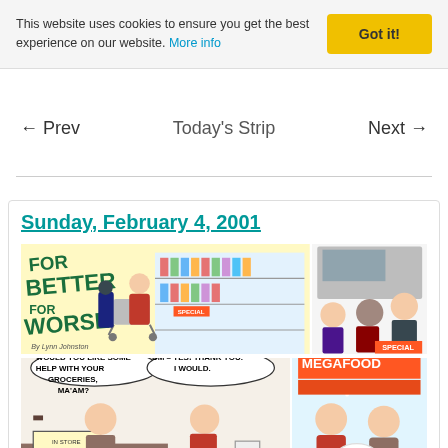This website uses cookies to ensure you get the best experience on our website. More info | Got it!
← Prev   Today's Strip   Next →
Sunday, February 4, 2001
[Figure (illustration): For Better or For Worse comic strip dated Sunday, February 4, 2001. Four panels showing characters in a grocery store setting. Top row: wide panel with 'For Better or For Worse by Lynn Johnston' title and characters shopping with a cart in a supermarket, second panel showing people at a checkout. Bottom row: panel with speech bubbles 'Would you like some help with your groceries, ma'am?' and 'Um - Yes! Thank you. I would.', and final panel showing characters outside Megafood store in snowy weather.]